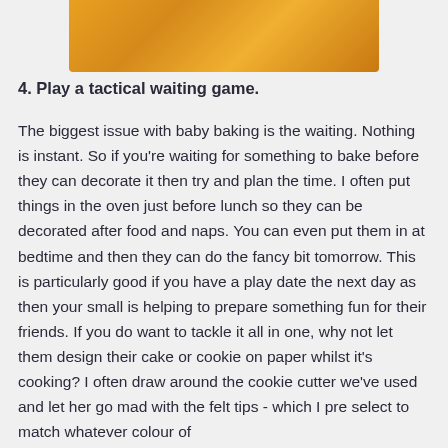[Figure (photo): Partial photo of baked goods, golden/yellow tones, cropped at top of page]
4. Play a tactical waiting game.
The biggest issue with baby baking is the waiting. Nothing is instant. So if you're waiting for something to bake before they can decorate it then try and plan the time. I often put things in the oven just before lunch so they can be decorated after food and naps. You can even put them in at bedtime and then they can do the fancy bit tomorrow. This is particularly good if you have a play date the next day as then your small is helping to prepare something fun for their friends. If you do want to tackle it all in one, why not let them design their cake or cookie on paper whilst it's cooking? I often draw around the cookie cutter we've used and let her go mad with the felt tips - which I pre select to match whatever colour of